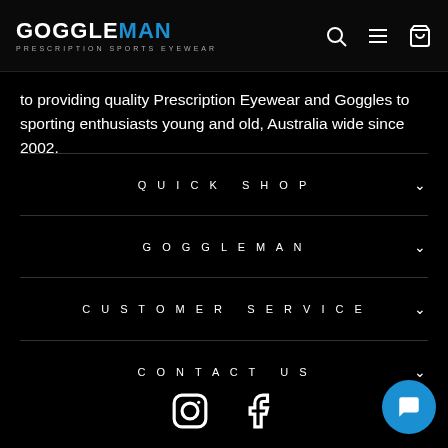GOGGLEMAN - PRESCRIPTION SPORTS EYEWEAR
to providing quality Prescription Eyewear and Goggles to sporting enthusiasts young and old, Australia wide since 2002.
QUICK SHOP
GOGGLEMAN
CUSTOMER SERVICE
CONTACT US
[Figure (other): Instagram and Facebook social media icons]